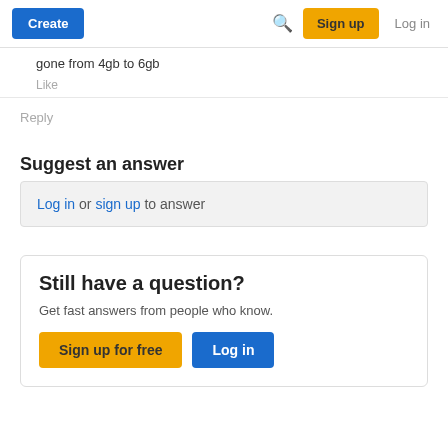Create | Sign up | Log in
gone from 4gb to 6gb
Like
Reply
Suggest an answer
Log in or sign up to answer
Still have a question?
Get fast answers from people who know.
Sign up for free | Log in